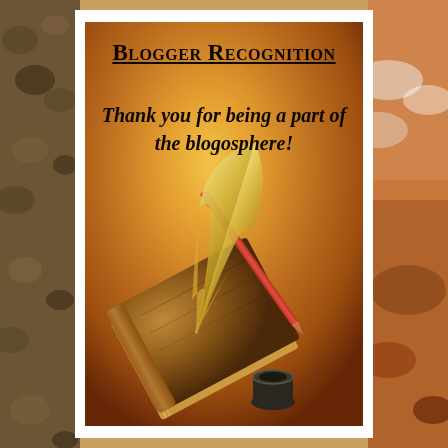[Figure (illustration): Blogger Recognition award card with an aged parchment/leather background in warm orange-brown tones. Features a quill feather pen resting on an old book with an inkwell, evoking a vintage writing aesthetic. Side panels show blurred rocks/pebbles on the left and a sky with clouds on the right.]
Blogger Recognition
Thank you for being a part of the blogosphere!